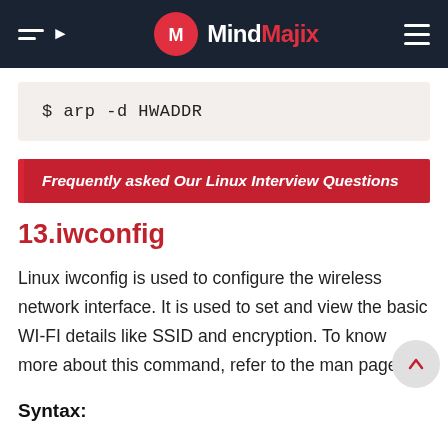MindMajix
$ arp -d HWADDR
Frequently asked Our Linux Interview Questions
13.iwconfig
Linux iwconfig is used to configure the wireless network interface. It is used to set and view the basic WI-FI details like SSID and encryption. To know more about this command, refer to the man page.
Syntax: